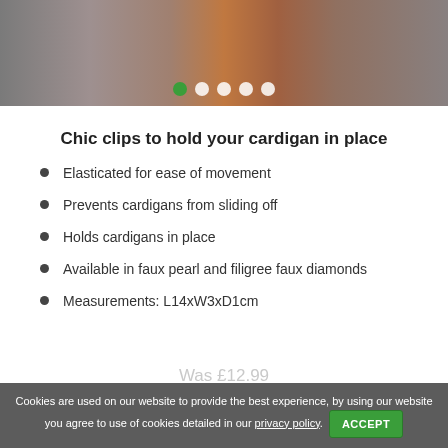[Figure (photo): Photo of a person wearing a grey cardigan/coat with brown leather garment underneath, showing image carousel with 5 navigation dots (first dot is green/active, others are white)]
Chic clips to hold your cardigan in place
Elasticated for ease of movement
Prevents cardigans from sliding off
Holds cardigans in place
Available in faux pearl and filigree faux diamonds
Measurements: L14xW3xD1cm
Cookies are used on our website to provide the best experience, by using our website you agree to use of cookies detailed in our privacy policy. ACCEPT